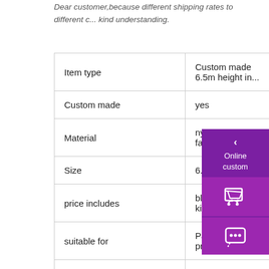Dear customer,because different shipping rates to different cities, kind understanding.
|  |  |
| --- | --- |
| Item type | Custom made 6.5m height in... |
| Custom made | yes |
| Material | nylon oxford fabric |
| Size | 6.5 M |
| price includes | blower,repair kit,ca... |
| suitable for | Party, event, promo... |
|  | 1.Please enter deta... |
[Figure (other): Purple sidebar with back arrow, 'Online custom' text, shopping cart icon, and chat/message icon buttons]